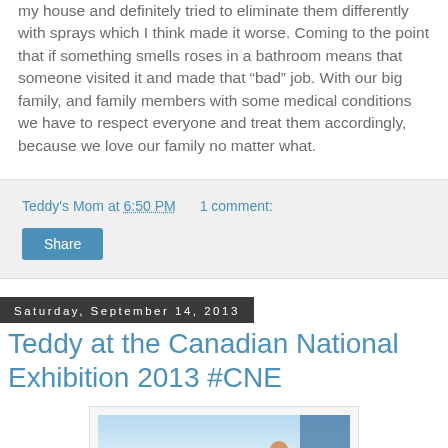my house and definitely tried to eliminate them differently with sprays which I think made it worse. Coming to the point that if something smells roses in a bathroom means that someone visited it and made that “bad” job. With our big family, and family members with some medical conditions we have to respect everyone and treat them accordingly, because we love our family no matter what.
Teddy's Mom at 6:50 PM    1 comment:
Share
Saturday, September 14, 2013
Teddy at the Canadian National Exhibition 2013 #CNE
[Figure (photo): Photo of a child at what appears to be an indoor exhibition area with fencing, white barrier, and blue curtains in the background]